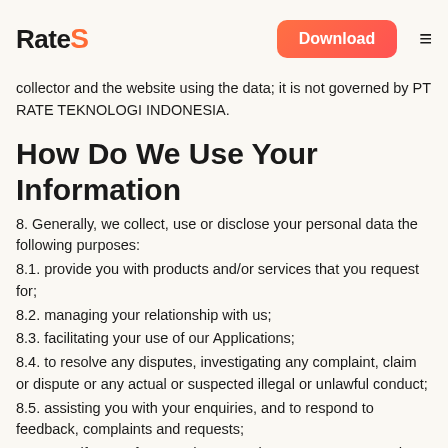RateS | Download
collector and the website using the data; it is not governed by PT RATE TEKNOLOGI INDONESIA.
How Do We Use Your Information
8. Generally, we collect, use or disclose your personal data the following purposes:
8.1. provide you with products and/or services that you request for;
8.2. managing your relationship with us;
8.3. facilitating your use of our Applications;
8.4. to resolve any disputes, investigating any complaint, claim or dispute or any actual or suspected illegal or unlawful conduct;
8.5. assisting you with your enquiries, and to respond to feedback, complaints and requests;
8.6. to notify you of our products, services, programmes and events;
8.7. to process your job application and assess your